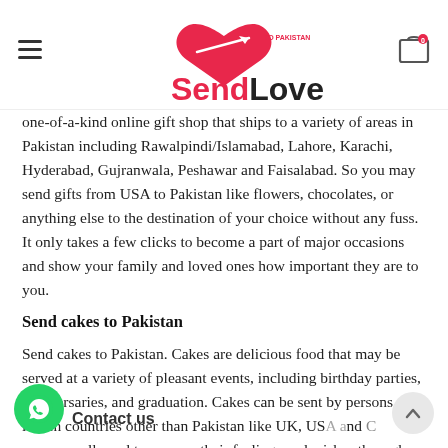SendLove to Pakistan
one-of-a-kind online gift shop that ships to a variety of areas in Pakistan including Rawalpindi/Islamabad, Lahore, Karachi, Hyderabad, Gujranwala, Peshawar and Faisalabad. So you may send gifts from USA to Pakistan like flowers, chocolates, or anything else to the destination of your choice without any fuss. It only takes a few clicks to become a part of major occasions and show your family and loved ones how important they are to you.
Send cakes to Pakistan
Send cakes to Pakistan. Cakes are delicious food that may be served at a variety of pleasant events, including birthday parties, anniversaries, and graduation. Cakes can be sent by persons who live in countries other than Pakistan like UK, USA and are allowed to express their feelings and wishes through cake delivery. Cakes are a honeyed and delectable dish that appeals to people of all ages.